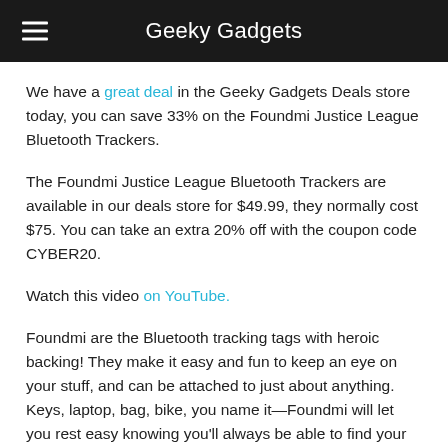Geeky Gadgets
We have a great deal in the Geeky Gadgets Deals store today, you can save 33% on the Foundmi Justice League Bluetooth Trackers.
The Foundmi Justice League Bluetooth Trackers are available in our deals store for $49.99, they normally cost $75. You can take an extra 20% off with the coupon code CYBER20.
Watch this video on YouTube.
Foundmi are the Bluetooth tracking tags with heroic backing! They make it easy and fun to keep an eye on your stuff, and can be attached to just about anything. Keys, laptop, bag, bike, you name it—Foundmi will let you rest easy knowing you'll always be able to find your stuff through the app.
Here are some of the features: